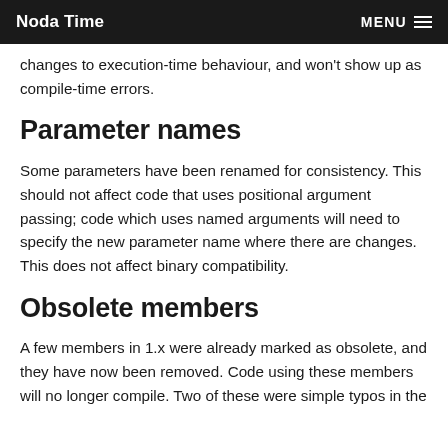Noda Time   MENU
changes to execution-time behaviour, and won't show up as compile-time errors.
Parameter names
Some parameters have been renamed for consistency. This should not affect code that uses positional argument passing; code which uses named arguments will need to specify the new parameter name where there are changes. This does not affect binary compatibility.
Obsolete members
A few members in 1.x were already marked as obsolete, and they have now been removed. Code using these members will no longer compile. Two of these were simple typos in the